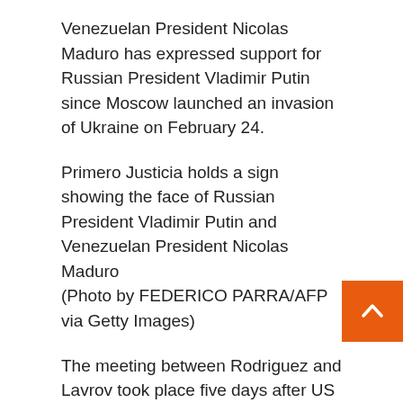Venezuelan President Nicolas Maduro has expressed support for Russian President Vladimir Putin since Moscow launched an invasion of Ukraine on February 24.
Primero Justicia holds a sign showing the face of Russian President Vladimir Putin and Venezuelan President Nicolas Maduro
(Photo by FEDERICO PARRA/AFP via Getty Images)
The meeting between Rodriguez and Lavrov took place five days after US officials met Maduro and suggested that Caracas hand over some of its oil exports to the United States as part of a deal to ease sanctions on the OPEC member.
Russian invasion: 549 people killed, according to the United Nations